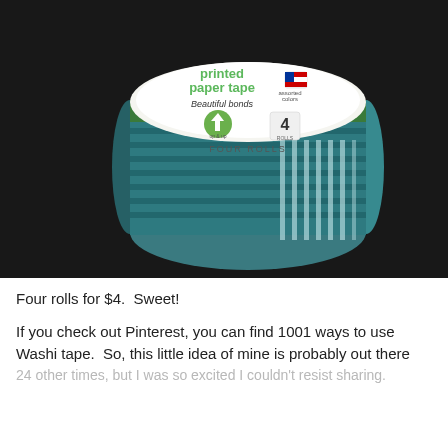[Figure (photo): Top-down view of a cylindrical stack of printed paper tape rolls (washi tape) with a white label on top reading 'printed paper tape / Beautiful bonds' with the Up & Up brand logo and '4' rolls indicated. The rolls are green and teal/blue striped, photographed against a dark black background.]
Four rolls for $4.  Sweet!
If you check out Pinterest, you can find 1001 ways to use Washi tape.  So, this little idea of mine is probably out there 24 other times, but I was so excited I couldn't resist sharing.